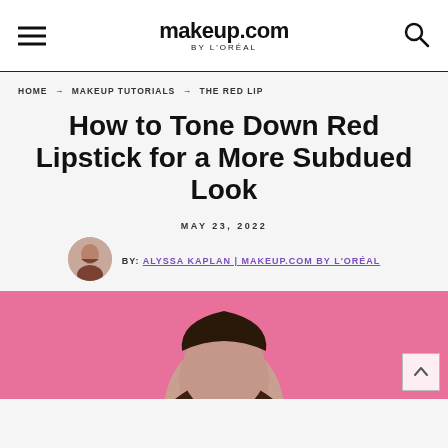makeup.com BY L'ORÉAL
HOME → MAKEUP TUTORIALS → THE RED LIP
How to Tone Down Red Lipstick for a More Subdued Look
MAY 23, 2022
BY: ALYSSA KAPLAN | MAKEUP.COM BY L'ORÉAL
[Figure (photo): Woman with red lipstick against a pink background, shown from shoulders up]